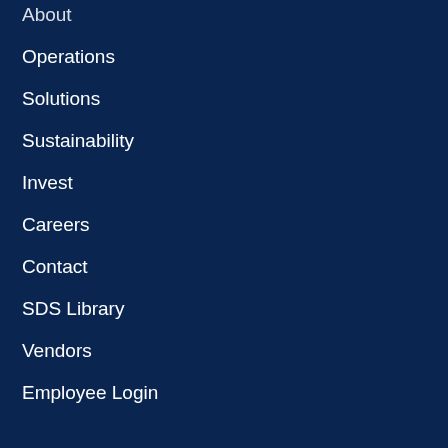About
Operations
Solutions
Sustainability
Invest
Careers
Contact
SDS Library
Vendors
Employee Login